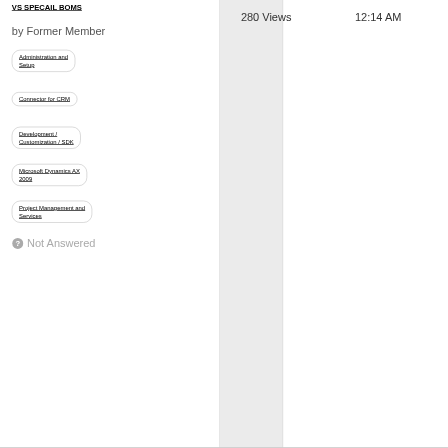VS SPECAIL BOMS
by Former Member
280 Views
12:14 AM
Administration and Setup
Connector for CRM
Development / Customization / SDK
Microsoft Dynamics AX 2009
Project Management and Services
Not Answered